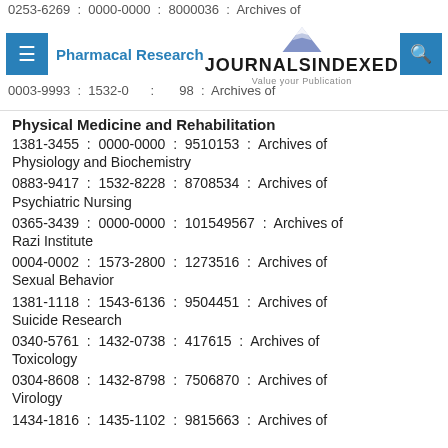0253-6269 : 0000-0000 : 8000036 : Archives of Pharmacal Research | JOURNALSINDEXED Value your Publication | 0003-9993 : 1532-0 : 98 : Archives of
Physical Medicine and Rehabilitation
1381-3455 : 0000-0000 : 9510153 : Archives of Physiology and Biochemistry
0883-9417 : 1532-8228 : 8708534 : Archives of Psychiatric Nursing
0365-3439 : 0000-0000 : 101549567 : Archives of Razi Institute
0004-0002 : 1573-2800 : 1273516 : Archives of Sexual Behavior
1381-1118 : 1543-6136 : 9504451 : Archives of Suicide Research
0340-5761 : 1432-0738 : 417615 : Archives of Toxicology
0304-8608 : 1432-8798 : 7506870 : Archives of Virology
1434-1816 : 1435-1102 : 9815663 : Archives of